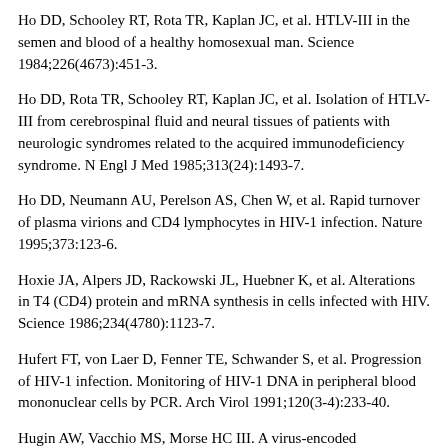Ho DD, Schooley RT, Rota TR, Kaplan JC, et al. HTLV-III in the semen and blood of a healthy homosexual man. Science 1984;226(4673):451-3.
Ho DD, Rota TR, Schooley RT, Kaplan JC, et al. Isolation of HTLV-III from cerebrospinal fluid and neural tissues of patients with neurologic syndromes related to the acquired immunodeficiency syndrome. N Engl J Med 1985;313(24):1493-7.
Ho DD, Neumann AU, Perelson AS, Chen W, et al. Rapid turnover of plasma virions and CD4 lymphocytes in HIV-1 infection. Nature 1995;373:123-6.
Hoxie JA, Alpers JD, Rackowski JL, Huebner K, et al. Alterations in T4 (CD4) protein and mRNA synthesis in cells infected with HIV. Science 1986;234(4780):1123-7.
Hufert FT, von Laer D, Fenner TE, Schwander S, et al. Progression of HIV-1 infection. Monitoring of HIV-1 DNA in peripheral blood mononuclear cells by PCR. Arch Virol 1991;120(3-4):233-40.
Hugin AW, Vacchio MS, Morse HC III. A virus-encoded superantigen in a retrovirus-induced immunodeficiency syndrome of mice. Science 1991;252(5004):424-7.
Huntscheck H, Sharma GM. Compressed lymphocyte...